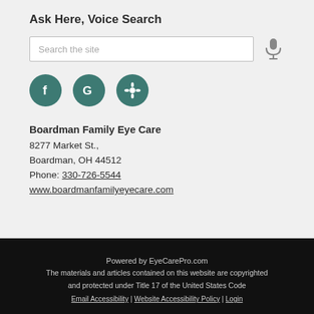Ask Here, Voice Search
[Figure (screenshot): Search bar with placeholder text 'Search the site' and a microphone icon to the right]
[Figure (infographic): Three teal circular social media icons: Facebook (f), Google (G), and Yelp (flower/star icon)]
Boardman Family Eye Care
8277 Market St.,
Boardman, OH 44512
Phone: 330-726-5544
www.boardmanfamilyeyecare.com
Powered by EyeCarePro.com
The materials and articles contained on this website are copyrighted and protected under Title 17 of the United States Code
Email Accessibility | Website Accessibility Policy | Login